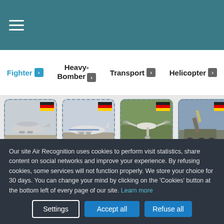≡ (hamburger menu)
Fighter ›
Heavy-Bomber ›
Transport ›
Helicopter ›
[Figure (photo): Four military aircraft/equipment cards with German flags: AWACS aircraft, large transport aircraft, drone, missile system]
Our site Air Recognition uses cookies to perform visit statistics, share content on social networks and improve your experience. By refusing cookies, some services will not function properly. We store your choice for 30 days. You can change your mind by clicking on the 'Cookies' button at the bottom left of every page of our site. Learn more
Settings
Accept all
Refuse all